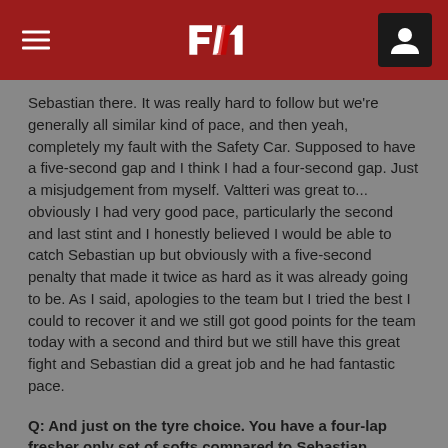F1
Sebastian there. It was really hard to follow but we're generally all similar kind of pace, and then yeah, completely my fault with the Safety Car. Supposed to have a five-second gap and I think I had a four-second gap. Just a misjudgement from myself. Valtteri was great to... obviously I had very good pace, particularly the second and last stint and I honestly believed I would be able to catch Sebastian up but obviously with a five-second penalty that made it twice as hard as it was already going to be. As I said, apologies to the team but I tried the best I could to recover it and we still got good points for the team today with a second and third but we still have this great fight and Sebastian did a great job and he had fantastic pace.
Q: And just on the tyre choice. You have a four-lap fresher only set of softs compared to Sebastian